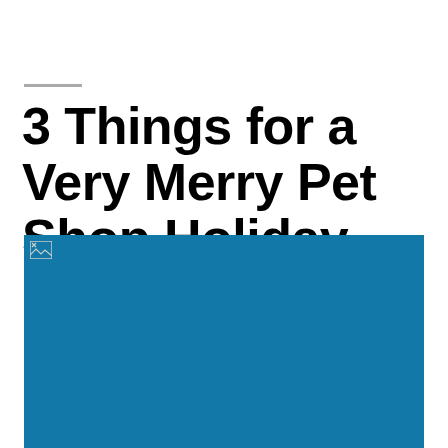3 Things for a Very Merry Pet Shop Holiday
[Figure (photo): A blue rectangular image placeholder, image failed to load, showing a broken image icon in the upper-left corner against a solid blue (#1278a8) background.]